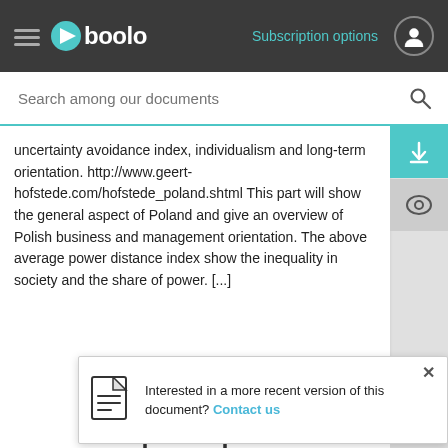Gboolo — Subscription options
uncertainty avoidance index, individualism and long-term orientation. http://www.geert-hofstede.com/hofstede_poland.shtml This part will show the general aspect of Poland and give an overview of Polish business and management orientation. The above average power distance index show the inequality in society and the share of power. [...]
[Figure (illustration): Document icon with DOC label and download arrow symbol]
Interested in a more recent version of this document? Contact us